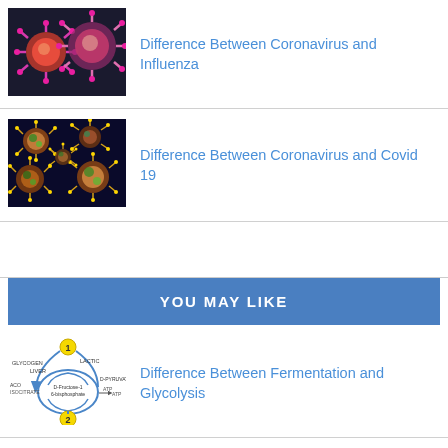[Figure (photo): Microscopic illustration of two coronavirus particles with pink spike proteins on dark background]
Difference Between Coronavirus and Influenza
[Figure (photo): Microscopic image of multiple coronavirus particles, orange and brown tones on dark blue background]
Difference Between Coronavirus and Covid 19
YOU MAY LIKE
[Figure (schematic): Diagram showing fermentation and glycolysis cycle with yellow circles and blue arrows]
Difference Between Fermentation and Glycolysis